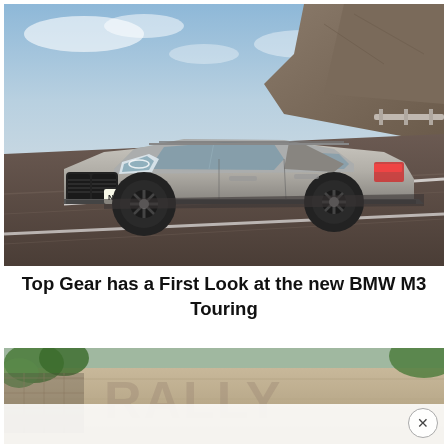[Figure (photo): A silver/grey BMW M3 Touring wagon driving on a road with rocky cliffs and blue sky in the background. The car is shown in three-quarter front view with large black alloy wheels and distinctive BMW kidney grille.]
Top Gear has a First Look at the new BMW M3 Touring
[Figure (photo): Partially visible second photo showing what appears to be a building with plants/ivy and some partially obscured text overlay, with a white semi-transparent banner across the lower portion.]